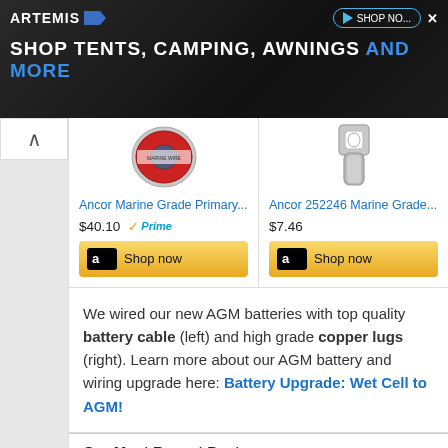[Figure (screenshot): Artemis banner advertisement: dark background with 'SHOP TENTS, CAMPING, AWNINGS AND MORE' tagline. Artemis logo top left, Shop Now button top right with close X.]
[Figure (photo): Red wire spool - Ancor Marine Grade Primary battery cable product image]
Ancor Marine Grade Primary...
$40.10
[Figure (photo): Silver copper lug connector - Ancor 252246 Marine Grade product image]
Ancor 252246 Marine Grade...
$7.46
We wired our new AGM batteries with top quality battery cable (left) and high grade copper lugs (right). Learn more about our AGM battery and wiring upgrade here: Battery Upgrade: Wet Cell to AGM!
Our Most Recent Posts: